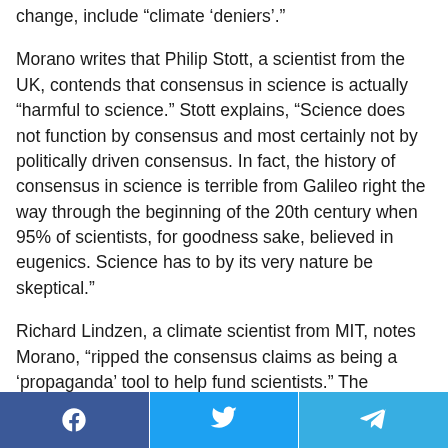change, include “climate ‘deniers’.”
Morano writes that Philip Stott, a scientist from the UK, contends that consensus in science is actually “harmful to science.” Stott explains, “Science does not function by consensus and most certainly not by politically driven consensus. In fact, the history of consensus in science is terrible from Galileo right the way through the beginning of the 20th century when 95% of scientists, for goodness sake, believed in eugenics. Science has to by its very nature be skeptical.”
Richard Lindzen, a climate scientist from MIT, notes Morano, “ripped the consensus claims as being a ‘propaganda’ tool to help fund scientists.” The
Facebook | Twitter | Telegram